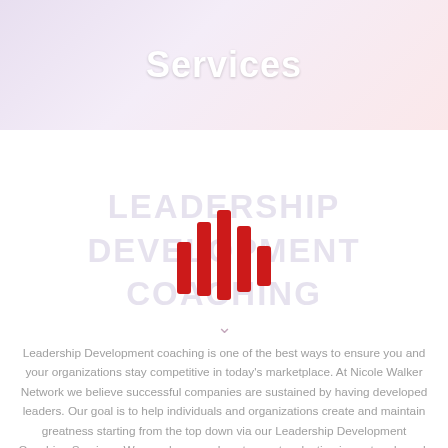Services
LEADERSHIP DEVELOPMENT COACHING
[Figure (logo): Red vertical bar waveform/audio logo icon centered on page]
Leadership Development coaching is one of the best ways to ensure you and your organizations stay competitive in today's marketplace. At Nicole Walker Network we believe successful companies are sustained by having developed leaders. Our goal is to help individuals and organizations create and maintain greatness starting from the top down via our Leadership Development Coaching Services. We coach you on how to create a lasting impact and reach the